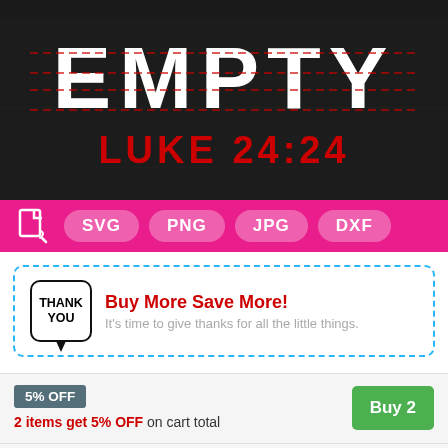[Figure (illustration): Dark background promotional image showing the word EMPTY in large white block letters with red dashed lines, and LUKE 24:24 in red text below, followed by a pink bar with SVG, PNG, JPG, DXF format badges]
Buy More Save More! It's time to give thanks for all the little things.
5% OFF
2 items get 5% OFF on cart total
10% OFF
3 items get 10% OFF on cart total
12% OFF
Buy 5